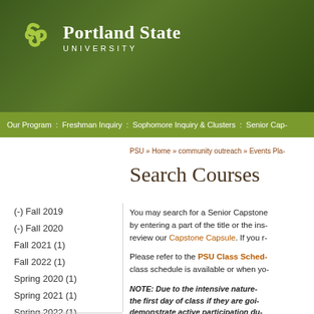[Figure (logo): Portland State University logo with green clover/knot icon and white text]
Portland State University
Our Program : Freshman Inquiry : Sophomore Inquiry & Clusters : Senior Cap-
PSU » Home » community outreach » Events Pla-
Search Courses
(-) Fall 2019
(-) Fall 2020
Fall 2021 (1)
Fall 2022 (1)
Spring 2020 (1)
Spring 2021 (1)
Spring 2022 (1)
Winter 2020 (1)
Winter 2021 (1)
Winter 2022 (1)
You may search for a Senior Capstone by entering a part of the title or the ins- review our Capstone Capsule. If you r-
Please refer to the PSU Class Sched- class schedule is available or when yo-
NOTE:  Due to the intensive nature- the first day of class if they are goi- demonstrate active participation du- and participation into the final gra-
NOTE:  "Sustainability" tagged cou- seek approval from Joseph Maser,